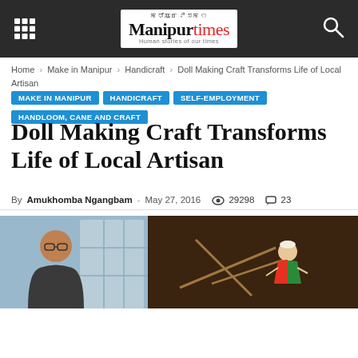Manipur times — Human stories of our times
Home › Make in Manipur › Handicraft › Doll Making Craft Transforms Life of Local Artisan
MAKE IN MANIPUR
HANDICRAFT
SELF-EMPLOYMENT
HANDLOOM, CANE AND CRAFT
Doll Making Craft Transforms Life of Local Artisan
By Amukhomba Ngangbam - May 27, 2016  👁 29298  💬 23
[Figure (photo): Photo of the artisan (left) and a traditional doll craft figure (right)]